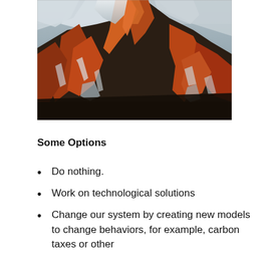[Figure (photo): Aerial photograph of a snow-capped mountain peak with orange/red rocky ridges and glacial streaks, dramatic landscape viewed from above.]
Some Options
Do nothing.
Work on technological solutions
Change our system by creating new models to change behaviors, for example, carbon taxes or other